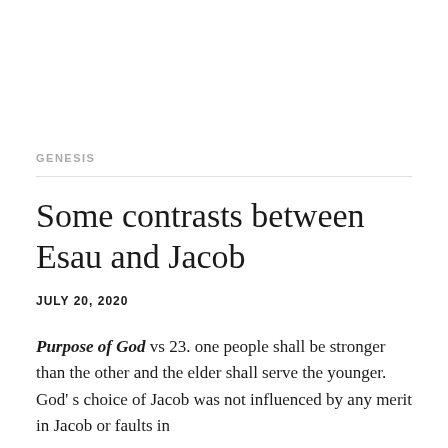GENESIS
Some contrasts between Esau and Jacob
JULY 20, 2020
Purpose of God vs 23. one people shall be stronger than the other and the elder shall serve the younger. God's choice of Jacob was not influenced by any merit in Jacob or faults in